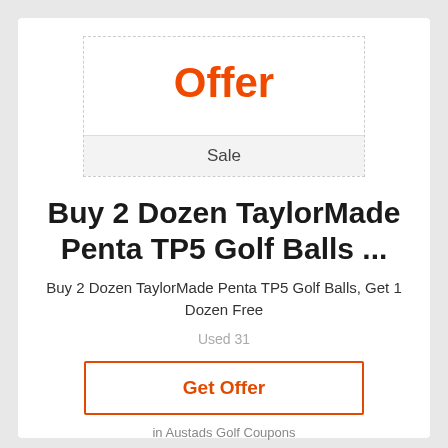[Figure (other): Dashed-border offer badge box showing 'Offer' in red bold text above a light gray 'Sale' label bar]
Buy 2 Dozen TaylorMade Penta TP5 Golf Balls ...
Buy 2 Dozen TaylorMade Penta TP5 Golf Balls, Get 1 Dozen Free
Used 31
Get Offer
in Austads Golf Coupons